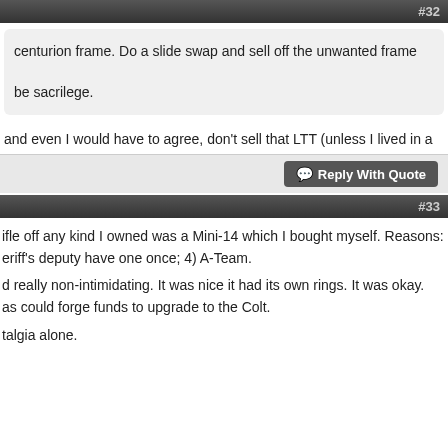#32
centurion frame. Do a slide swap and sell off the unwanted frame

be sacrilege.
and even I would have to agree, don't sell that LTT (unless I lived in a
Reply With Quote
#33
ifle off any kind I owned was a Mini-14 which I bought myself. Reasons:
eriff's deputy have one once; 4) A-Team.
d really non-intimidating. It was nice it had its own rings. It was okay.
as could forge funds to upgrade to the Colt.
talgia alone.